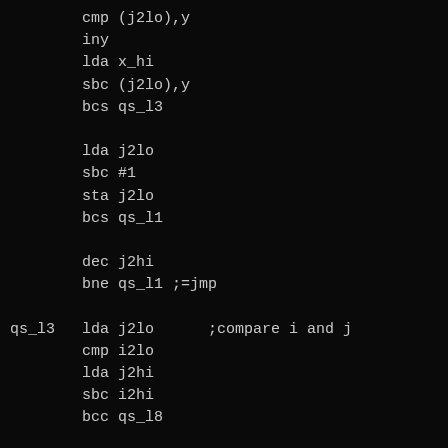cmp (j2lo),y
iny
lda x_hi
sbc (j2lo),y
bcs qs_l3

lda j2lo
sbc #1
sta j2lo
bcs qs_l1

dec j2hi
bne qs_l1 ;=jmp

qs_l3   lda j2lo      ;compare i and j
        cmp i2lo
        lda j2hi
        sbc i2hi
        bcc qs_l8